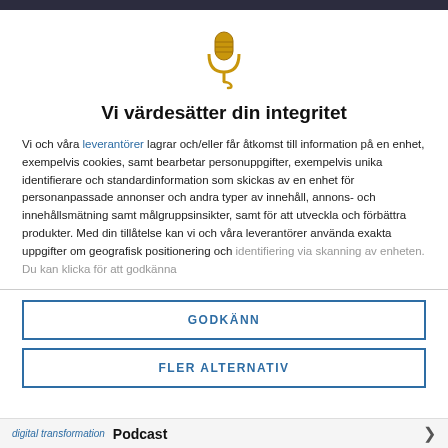[Figure (illustration): Gold microphone icon with cable]
Vi värdesätter din integritet
Vi och våra leverantörer lagrar och/eller får åtkomst till information på en enhet, exempelvis cookies, samt bearbetar personuppgifter, exempelvis unika identifierare och standardinformation som skickas av en enhet för personanpassade annonser och andra typer av innehåll, annons- och innehållsmätning samt målgruppsinsikter, samt för att utveckla och förbättra produkter. Med din tillåtelse kan vi och våra leverantörer använda exakta uppgifter om geografisk positionering och identifiering via skanning av enheten. Du kan klicka för att godkänna
GODKÄNN
FLER ALTERNATIV
digital transformation  Podcast